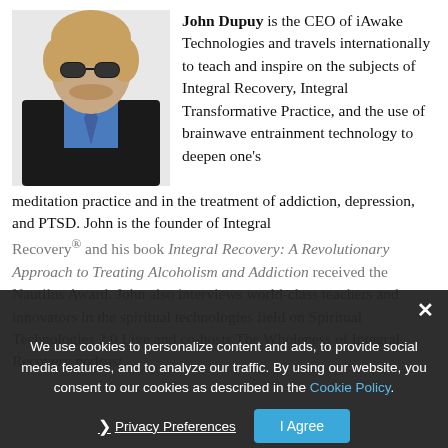[Figure (photo): Headshot of John Dupuy, a man with shoulder-length blonde hair wearing sunglasses, a dark jacket, and a blue shirt with a tie, against a white background.]
John Dupuy is the CEO of iAwake Technologies and travels internationally to teach and inspire on the subjects of Integral Recovery, Integral Transformative Practice, and the use of brainwave entrainment technology to deepen one's meditation practice and in the treatment of addiction, depression, and PTSD. John is the founder of Integral Recovery® and his book Integral Recovery: A Revolutionary Approach to Treating Alcoholism and Addiction received the Nautilus Award. John also interviews world-class teachers and innovators in the spiritual technologies field on Spiritual Technologies 2.0 Live and co-hosts The Wholeness of Integral Recovery podcast.
We use cookies to personalize content and ads, to provide social media features, and to analyze our traffic. By using our website, you consent to our cookies as described in the Cookie Policy.
Privacy Preferences
I Agree